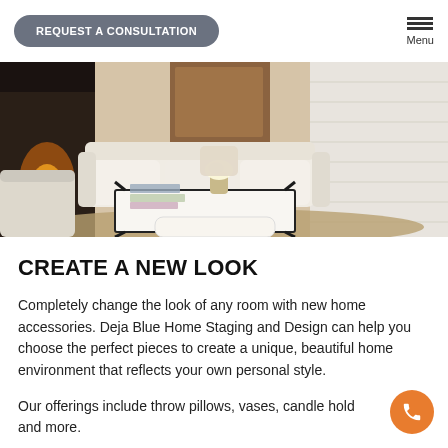REQUEST A CONSULTATION | Menu
[Figure (photo): Interior living room photo showing white sofas, a black coffee table, fireplace, and neutral-toned rug]
CREATE A NEW LOOK
Completely change the look of any room with new home accessories. Deja Blue Home Staging and Design can help you choose the perfect pieces to create a unique, beautiful home environment that reflects your own personal style.
Our offerings include throw pillows, vases, candle holders, and more.